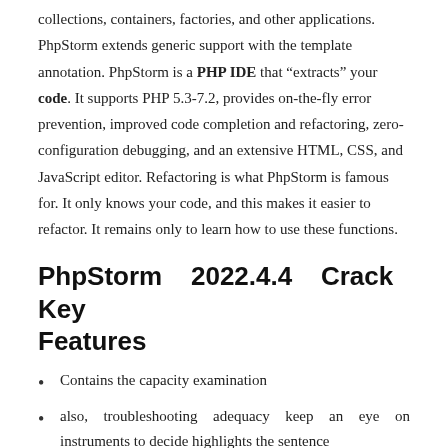collections, containers, factories, and other applications. PhpStorm extends generic support with the template annotation. PhpStorm is a PHP IDE that “extracts” your code. It supports PHP 5.3-7.2, provides on-the-fly error prevention, improved code completion and refactoring, zero-configuration debugging, and an extensive HTML, CSS, and JavaScript editor. Refactoring is what PhpStorm is famous for. It only knows your code, and this makes it easier to refactor. It remains only to learn how to use these functions.
PhpStorm 2022.4.4 Crack Key Features
Contains the capacity examination
also, troubleshooting adequacy keep an eye on instruments to decide highlights the sentence
is made out of related WebStorm plans CSA and HTML
is this way, PhpStorm please consummately for PHP 7 establishment group, which is